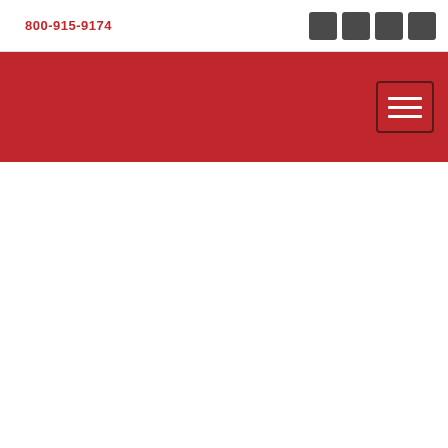800-915-9174
[Figure (screenshot): Red navigation bar with hamburger menu button on the right side]